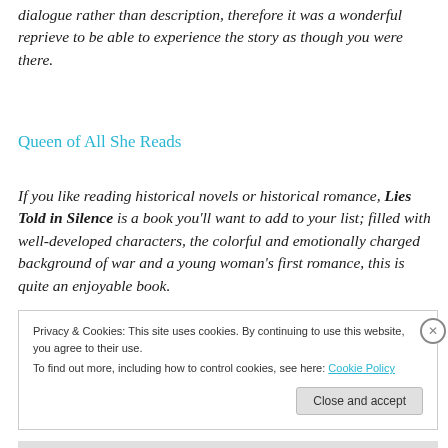dialogue rather than description, therefore it was a wonderful reprieve to be able to experience the story as though you were there.
Queen of All She Reads
If you like reading historical novels or historical romance, Lies Told in Silence is a book you'll want to add to your list; filled with well-developed characters, the colorful and emotionally charged background of war and a young woman's first romance, this is quite an enjoyable book.
Privacy & Cookies: This site uses cookies. By continuing to use this website, you agree to their use.
To find out more, including how to control cookies, see here: Cookie Policy